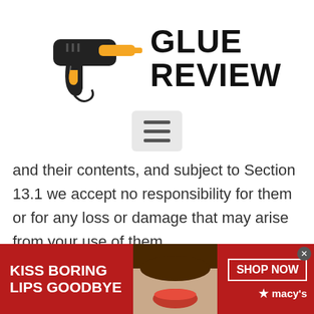[Figure (logo): Glue Review logo with hot glue gun illustration in black and orange, and bold black text 'GLUE REVIEW']
[Figure (other): Hamburger menu button (three horizontal lines) on light gray rounded rectangle background]
and their contents, and subject to Section 13.1 we accept no responsibility for them or for any loss or damage that may arise from your use of them.
[Figure (other): Video player overlay with text 'No compatible source was found for this media.']
[Figure (other): Macy's advertisement banner: red background, white bold text 'KISS BORING LIPS GOODBYE', photo of woman with red lips in center, right side shows 'SHOP NOW' button and Macy's star logo]